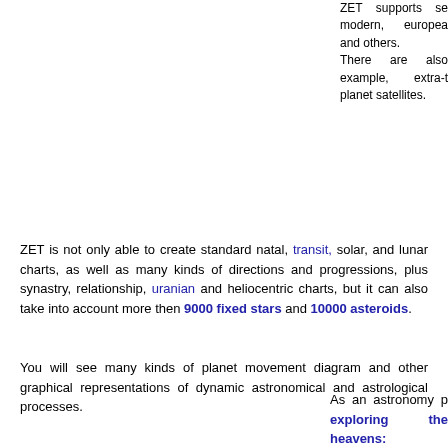ZET supports se modern, europea and others. There are also example, extra-t planet satellites.
ZET is not only able to create standard natal, transit, solar, and lunar charts, as well as many kinds of directions and progressions, plus synastry, relationship, uranian and heliocentric charts, but it can also take into account more then 9000 fixed stars and 10000 asteroids.
You will see many kinds of planet movement diagram and other graphical representations of dynamic astronomical and astrological processes.
As an astronomy p exploring the heavens: With ZET you can vie Moon, planets and s obscured by clouds an You can learn here t